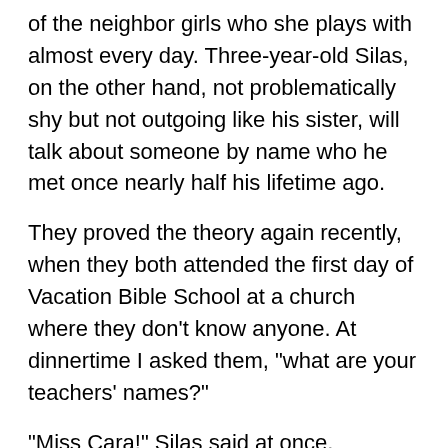of the neighbor girls who she plays with almost every day. Three-year-old Silas, on the other hand, not problematically shy but not outgoing like his sister, will talk about someone by name who he met once nearly half his lifetime ago.
They proved the theory again recently, when they both attended the first day of Vacation Bible School at a church where they don’t know anyone. At dinnertime I asked them, “what are your teachers’ names?”
“Miss Cara!” Silas said at once.
“How about yours, Lu?”